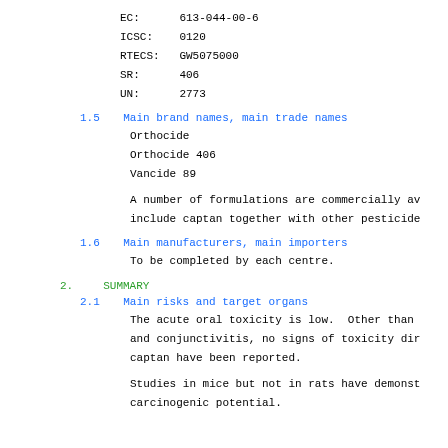EC:    613-044-00-6
ICSC:  0120
RTECS: GW5075000
SR:    406
UN:    2773
1.5  Main brand names, main trade names
Orthocide
Orthocide 406
Vancide 89
A number of formulations are commercially av include captan together with other pesticide
1.6  Main manufacturers, main importers
To be completed by each centre.
2.  SUMMARY
2.1  Main risks and target organs
The acute oral toxicity is low.  Other than and conjunctivitis, no signs of toxicity dir captan have been reported.
Studies in mice but not in rats have demonst carcinogenic potential.